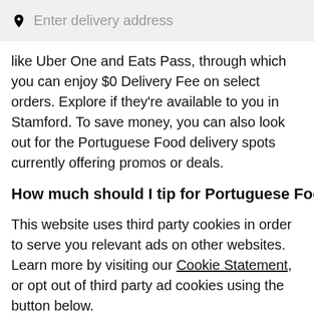[Figure (screenshot): Search bar with location pin icon and placeholder text 'Enter delivery address' on a light grey background]
like Uber One and Eats Pass, through which you can enjoy $0 Delivery Fee on select orders. Explore if they're available to you in Stamford. To save money, you can also look out for the Portuguese Food delivery spots currently offering promos or deals.
How much should I tip for Portuguese Food
This website uses third party cookies in order to serve you relevant ads on other websites. Learn more by visiting our Cookie Statement, or opt out of third party ad cookies using the button below.